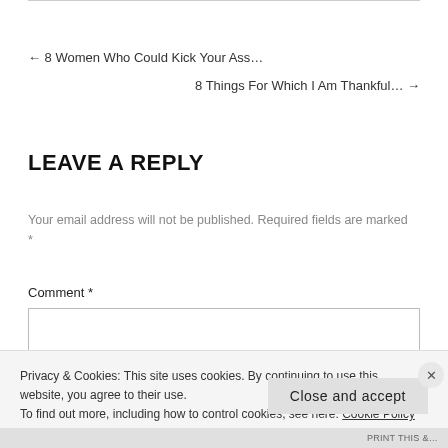← 8 Women Who Could Kick Your Ass…
8 Things For Which I Am Thankful… →
LEAVE A REPLY
Your email address will not be published. Required fields are marked *
Comment *
Privacy & Cookies: This site uses cookies. By continuing to use this website, you agree to their use.
To find out more, including how to control cookies, see here: Cookie Policy
Close and accept
PRINT THIS &…